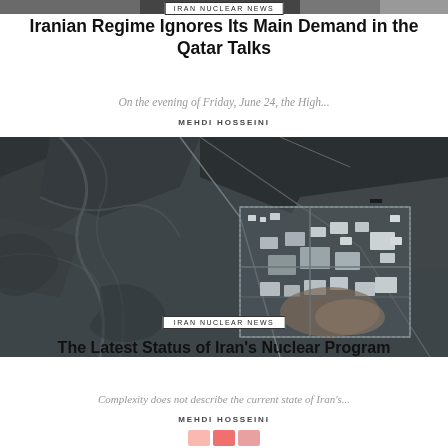IRAN NUCLEAR NEWS
Iranian Regime Ignores Its Main Demand in the Qatar Talks
On the evening of Friday, June 24, the High...
MEHDI HOSSEINI
[Figure (photo): Satellite aerial photograph of an Iranian nuclear facility compound in a mountainous desert terrain, showing buildings, structures, and roads]
IRAN NUCLEAR NEWS
The Latest Status of Iran's Nuclear Program
Complexity does not describe the current state of Iran's...
MEHDI HOSSEINI